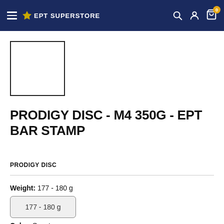EPT SUPERSTORE
[Figure (photo): Product image placeholder — white square with black border]
PRODIGY DISC - M4 350G - EPT BAR STAMP
PRODIGY DISC
Weight:  177 - 180 g
177 - 180 g
Color:  Spectrum